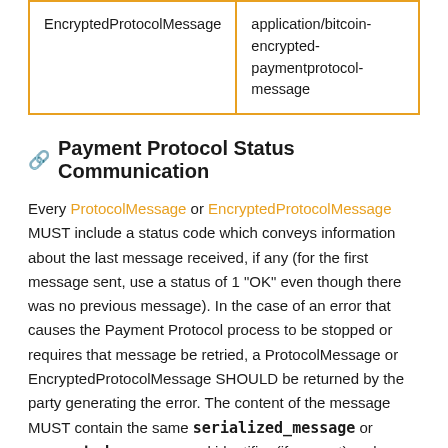| EncryptedProtocolMessage | application/bitcoin-encrypted-paymentprotocol-message |
Payment Protocol Status Communication
Every ProtocolMessage or EncryptedProtocolMessage MUST include a status code which conveys information about the last message received, if any (for the first message sent, use a status of 1 "OK" even though there was no previous message). In the case of an error that causes the Payment Protocol process to be stopped or requires that message be retried, a ProtocolMessage or EncryptedProtocolMessage SHOULD be returned by the party generating the error. The content of the message MUST contain the same serialized_message or encrypted_message and identifier (if present) and MUST have the status_code set appropriately.